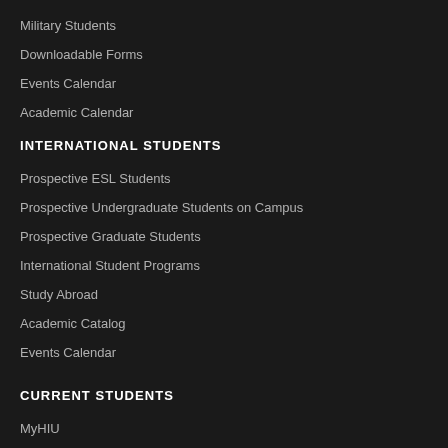Military Students
Downloadable Forms
Events Calendar
Academic Calendar
INTERNATIONAL STUDENTS
Prospective ESL Students
Prospective Undergraduate Students on Campus
Prospective Graduate Students
International Student Programs
Study Abroad
Academic Catalog
Events Calendar
CURRENT STUDENTS
MyHIU
Webmail
Student Life
Career Development
Academic Catalog